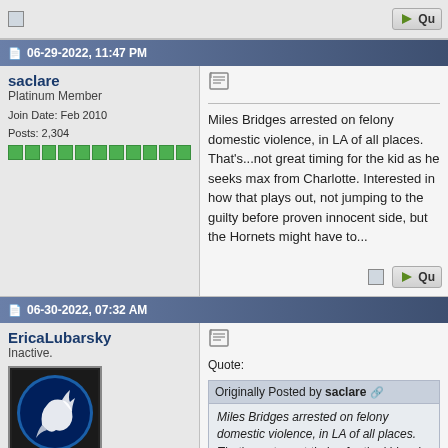[partial top post row with quote button]
06-29-2022, 11:47 PM
saclare
Platinum Member
Join Date: Feb 2010
Posts: 2,304
Miles Bridges arrested on felony domestic violence, in LA of all places. That's...not great timing for the kid as he seeks max from Charlotte. Interested in how that plays out, not jumping to the guilty before proven innocent side, but the Hornets might have to...
06-30-2022, 07:32 AM
EricaLubarsky
Inactive.
Join Date: Feb 2004
Location: Scottsdale, AZ
Posts: 37,820
Quote:
Originally Posted by saclare
Miles Bridges arrested on felony domestic violence, in LA of all places. That's...not great timing for the kid as he seeks max from Charlotte. Interested in how that plays out, def not jumping to the guilty before proven innocent side, but the Hornets might have to...